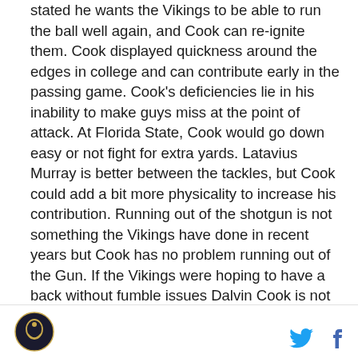stated he wants the Vikings to be able to run the ball well again, and Cook can re-ignite them. Cook displayed quickness around the edges in college and can contribute early in the passing game. Cook's deficiencies lie in his inability to make guys miss at the point of attack. At Florida State, Cook would go down easy or not fight for extra yards. Latavius Murray is better between the tackles, but Cook could add a bit more physicality to increase his contribution. Running out of the shotgun is not something the Vikings have done in recent years but Cook has no problem running out of the Gun. If the Vikings were hoping to have a back without fumble issues Dalvin Cook is not that back. Cook had 13 career fumbles with four in 2016, Cook will need to work on ball security this offseason
[Figure (logo): Circular logo in bottom left corner, dark background with gold/yellow emblem]